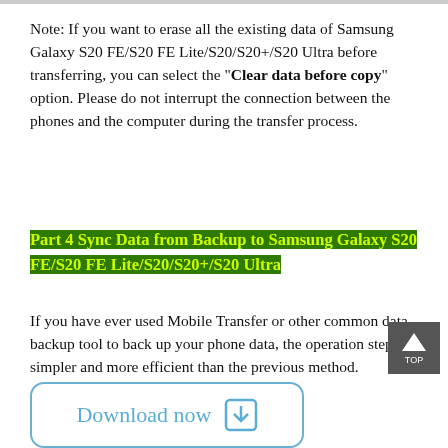Note: If you want to erase all the existing data of Samsung Galaxy S20 FE/S20 FE Lite/S20/S20+/S20 Ultra before transferring, you can select the "Clear data before copy" option. Please do not interrupt the connection between the phones and the computer during the transfer process.
Part 4 Sync Data from Backup to Samsung Galaxy S20 FE/S20 FE Lite/S20/S20+/S20 Ultra
If you have ever used Mobile Transfer or other common data backup tool to back up your phone data, the operation steps are simpler and more efficient than the previous method.
[Figure (other): Download now button with download icon]